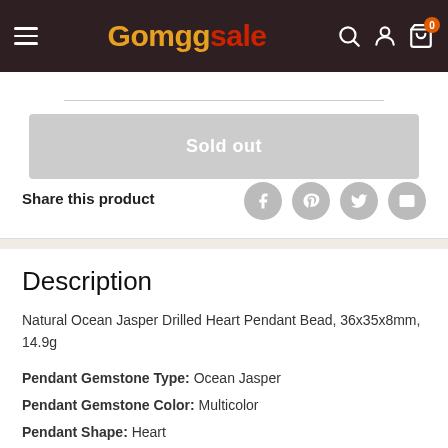Gomggsale — navigation bar with search, account, and cart (0 items)
[Figure (screenshot): Sold out button — large light-grey rectangular button with white text 'Sold out']
Share this product
[Figure (infographic): Social share icons: Facebook, Pinterest, Twitter, Email — grey circles with white icons]
Description
Natural Ocean Jasper Drilled Heart Pendant Bead, 36x35x8mm, 14.9g
Pendant Gemstone Type: Ocean Jasper
Pendant Gemstone Color: Multicolor
Pendant Shape: Heart